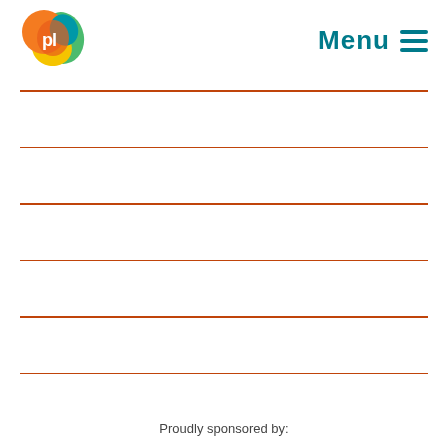[Figure (logo): Pl logo — colorful heart-like shape with pl initials in white, orange/yellow/green/blue colors]
Menu ≡
[Figure (other): Six horizontal orange-red ruled lines evenly spaced on a white background, resembling a lined notepad page]
Proudly sponsored by: